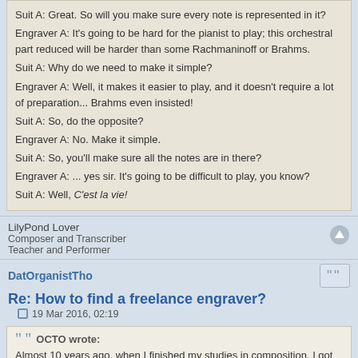Suit A: Great. So will you make sure every note is represented in it?
Engraver A: It's going to be hard for the pianist to play; this orchestral part reduced will be harder than some Rachmaninoff or Brahms.
Suit A: Why do we need to make it simple?
Engraver A: Well, it makes it easier to play, and it doesn't require a lot of preparation... Brahms even insisted!
Suit A: So, do the opposite?
Engraver A: No. Make it simple.
Suit A: So, you'll make sure all the notes are in there?
Engraver A: ... yes sir. It's going to be difficult to play, you know?
Suit A: Well, C'est la vie!
LilyPond Lover
Composer and Transcriber
Teacher and Performer
DatOrganistTho
Re: How to find a freelance engraver?
19 Mar 2016, 02:19
OCTO wrote:
Almost 10 years ago, when I finished my studies in composition, I got